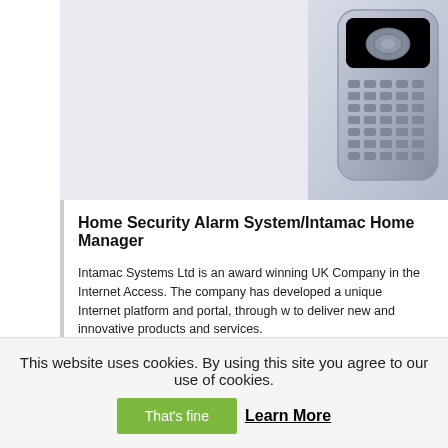[Figure (photo): Partial view of a silver/grey mobile phone or remote control device against a light grey/white background]
Home Security Alarm System/Intamac Home Manager
Intamac Systems Ltd is an award winning UK Company in the Internet Access. The company has developed a unique Internet platform and portal, through w to deliver new and innovative products and services.
They supply their services direct to consumers both domestic and business, p involves partner companies with a managed service that they can offer to the
This article provides information about their home security products and servi
The Intamac Home Manager home security alarm system, keeps you in touc
What Is Home manager?
Home Manager is an affordable and innovative web-based monitoring service home, and helps you protect your home and family against:-
This website uses cookies. By using this site you agree to our use of cookies.
That's fine
Learn More